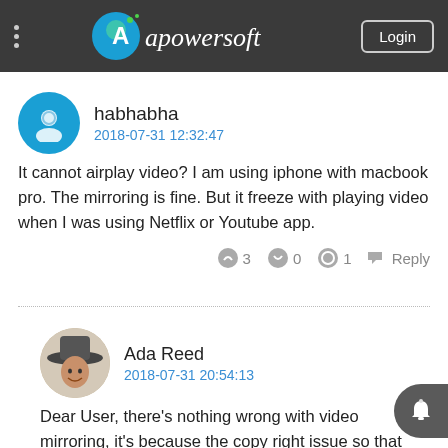[Figure (screenshot): Apowersoft website navigation bar with logo and Login button]
habhabha
2018-07-31 12:32:47
It cannot airplay video? I am using iphone with macbook pro. The mirroring is fine. But it freeze with playing video when I was using Netflix or Youtube app.
3  0  1  Reply
Ada Reed
2018-07-31 20:54:13
Dear User, there's nothing wrong with video mirroring, it's because the copy right issue so that certain videos cannot be mirrored such Netflix. Thank you for your understanding.